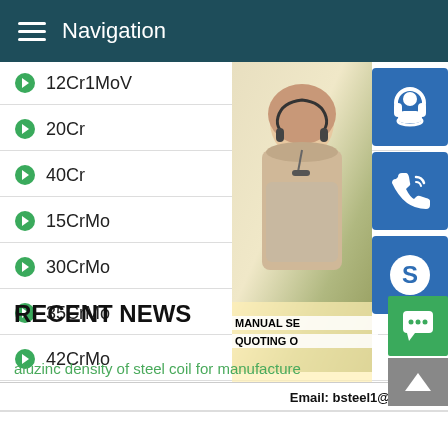Navigation
12Cr1MoV
20Cr
40Cr
15CrMo
30CrMo
35CrMo
42CrMo
[Figure (photo): Customer service representative woman with headset, alongside blue icon buttons for headset, phone, and Skype, with text MANUAL SE... QUOTING O... Email: bsteel1@163.com]
RECENT NEWS
aluzinc density of steel coil for manufacture